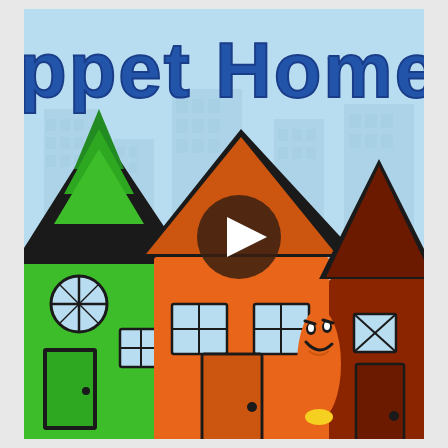[Figure (illustration): A colorful children's educational video thumbnail titled 'Puppet Homes' (partially visible as 'ppet Home'). Shows cartoon-style paper craft houses in green, orange, and dark red/brown against a light blue sky with faint city buildings in background. A smiling orange finger puppet character stands between the orange and dark red houses. A brown circular play button overlay is in the center of the image. Green grass at the bottom.]